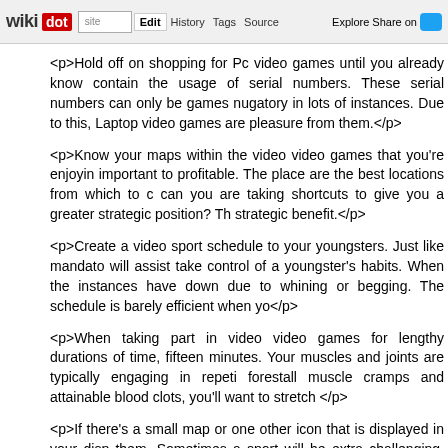wikidot | site | Edit | History | Tags | Source | Explore | Share on Twitter
<p>Hold off on shopping for Pc video games until you already know contain the usage of serial numbers. These serial numbers can only be games nugatory in lots of instances. Due to this, Laptop video games are pleasure from them.</p>
<p>Know your maps within the video video games that you're enjoyin important to profitable. The place are the best locations from which to c can you are taking shortcuts to give you a greater strategic position? Th strategic benefit.</p>
<p>Create a video sport schedule to your youngsters. Just like mandato will assist take control of a youngster's habits. When the instances have down due to whining or begging. The schedule is barely efficient when yo</p>
<p>When taking part in video video games for lengthy durations of time, fifteen minutes. Your muscles and joints are typically engaging in repeti forestall muscle cramps and attainable blood clots, you'll want to stretch </p>
<p>If there's a small map or one other icon that is displayed in your disp them. Sometimes a sport will be extra challenging, and therefore, extra e always have the option of bringing the icons again in the event you decide</p>
<p>Save your sport as much as you may. While auto-saving is a good ch when you first start taking part in a game, chances are you'll don't know loss of essential data later on. Till you perceive the sport better, always s</p>
<p>When buying for youngsters you will need to check ESRB ratings. Wh</p>